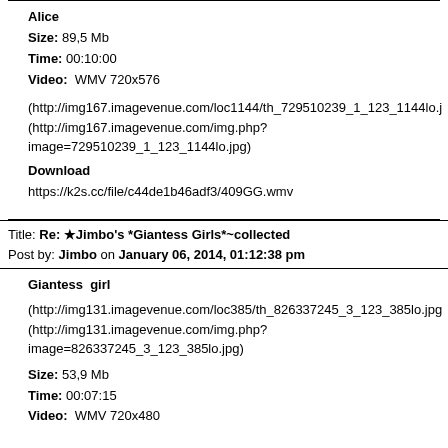Alice
Size: 89,5 Mb
Time: 00:10:00
Video: WMV 720x576
(http://img167.imagevenue.com/loc1144/th_729510239_1_123_1144lo.j
(http://img167.imagevenue.com/img.php?image=729510239_1_123_1144lo.jpg)
Download
https://k2s.cc/file/c44de1b46adf3/409GG.wmv
Title: Re: ★Jimbo's *Giantess Girls*~collected
Post by: Jimbo on January 06, 2014, 01:12:38 pm
Giantess  girl
(http://img131.imagevenue.com/loc385/th_826337245_3_123_385lo.jpg
(http://img131.imagevenue.com/img.php?image=826337245_3_123_385lo.jpg)
Size: 53,9 Mb
Time: 00:07:15
Video: WMV 720x480